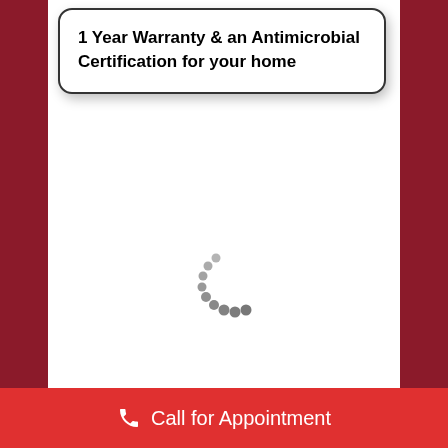1 Year Warranty & an Antimicrobial Certification for your home
[Figure (other): Loading spinner — a partial arc of dots (grey circles arranged in a curved/arc pattern suggesting a spinner animation)]
Call for Appointment